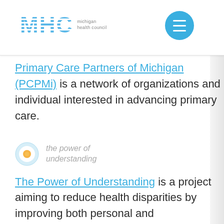[Figure (logo): Michigan Health Council (MHC) logo with blue striped letters and hamburger menu button]
Primary Care Partners of Michigan (PCPMi) is a network of organizations and individual interested in advancing primary care.
[Figure (logo): The Power of Understanding project logo - circular icon with sun/eye motif and blurred text]
The Power of Understanding is a project aiming to reduce health disparities by improving both personal and organizational health literacy. Our team helps organizations review and improve their health literacy. This can be